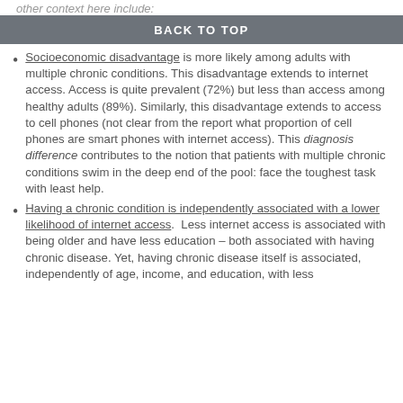other context here include:
BACK TO TOP
Socioeconomic disadvantage is more likely among adults with multiple chronic conditions. This disadvantage extends to internet access. Access is quite prevalent (72%) but less than access among healthy adults (89%). Similarly, this disadvantage extends to access to cell phones (not clear from the report what proportion of cell phones are smart phones with internet access). This diagnosis difference contributes to the notion that patients with multiple chronic conditions swim in the deep end of the pool: face the toughest task with least help.
Having a chronic condition is independently associated with a lower likelihood of internet access. Less internet access is associated with being older and have less education – both associated with having chronic disease. Yet, having chronic disease itself is associated, independently of age, income, and education, with less